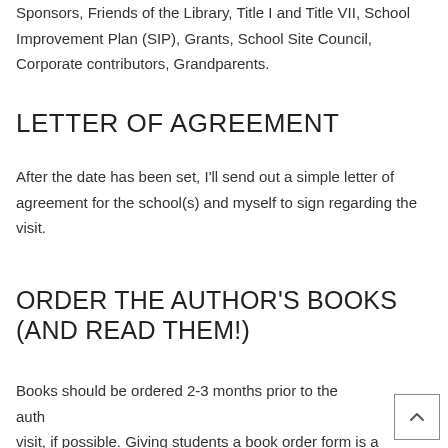Funding resources include the PTA, Adopt-a-School Sponsors, Friends of the Library, Title I and Title VII, School Improvement Plan (SIP), Grants, School Site Council, Corporate contributors, Grandparents.
LETTER OF AGREEMENT
After the date has been set, I'll send out a simple letter of agreement for the school(s) and myself to sign regarding the visit.
ORDER THE AUTHOR'S BOOKS (AND READ THEM!)
Books should be ordered 2-3 months prior to the author's visit, if possible. Giving students a book order form is a